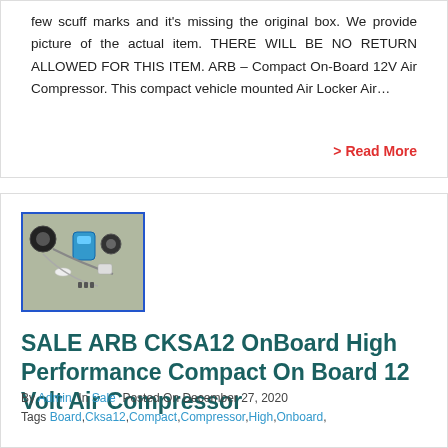few scuff marks and it's missing the original box. We provide picture of the actual item. THERE WILL BE NO RETURN ALLOWED FOR THIS ITEM. ARB – Compact On-Board 12V Air Compressor. This compact vehicle mounted Air Locker Air…
> Read More
[Figure (photo): Product photo of ARB CKSA12 air compressor kit components on a surface, showing hoses, fittings, and a blue canister, framed with a blue border.]
SALE ARB CKSA12 OnBoard High Performance Compact On Board 12 Volt Air Compressor
By Admin  In Sale  Posted On December 27, 2020
Tags Board,Cksa12,Compact,Compressor,High,Onboard,